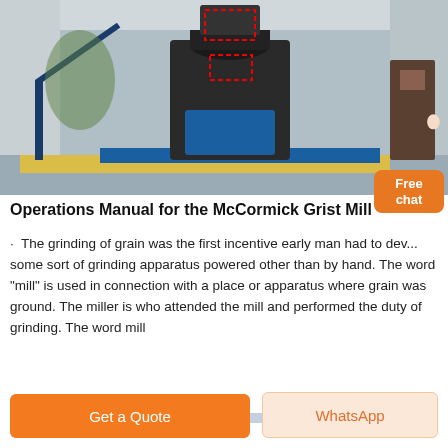[Figure (photo): Industrial grist mill machinery in a warehouse/factory setting, large vertical grinding machine with blue components, steel frame structure with yellow safety markings on floor, red dashed outlines superimposed on the machinery]
Operations Manual for the McCormick Grist Mill
· The grinding of grain was the first incentive early man had to dev... some sort of grinding apparatus powered other than by hand. The word "mill" is used in connection with a place or apparatus where grain was ground. The miller is who attended the mill and performed the duty of grinding. The word mill
Chat Online
Get a Quote
WhatsApp